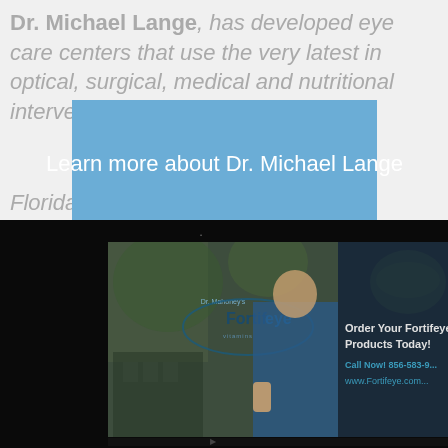Dr. Michael Lange, has developed eye care centers that use the very latest in optical, surgical, medical and nutritional intervention ... ity, ... y of Florida Campus, West Ocala, Ocala.
Learn more about Dr. Michael Lange
[Figure (screenshot): A screenshot of a Fortifeye Vitamins promotional video or advertisement displayed on a dark monitor/screen. Shows Dr. Lange in blue scrubs with a thumbs up, the Fortifeye logo, green vegetables, and text: 'Order Your Fortifeye Products Today! Call Now! 866-503-9... www.Fortifeye.com...']